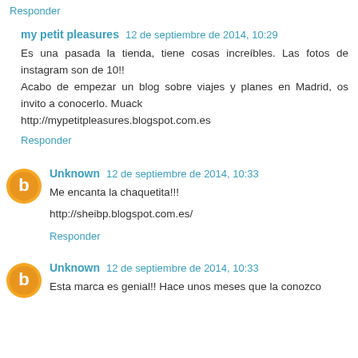Responder
my petit pleasures  12 de septiembre de 2014, 10:29
Es una pasada la tienda, tiene cosas increíbles. Las fotos de instagram son de 10!!
Acabo de empezar un blog sobre viajes y planes en Madrid, os invito a conocerlo. Muack
http://mypetitpleasures.blogspot.com.es
Responder
Unknown  12 de septiembre de 2014, 10:33
Me encanta la chaquetita!!!

http://sheibp.blogspot.com.es/
Responder
Unknown  12 de septiembre de 2014, 10:33
Esta marca es genial!! Hace unos meses que la conozco